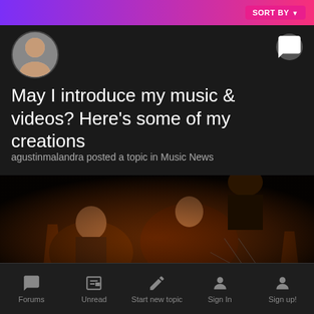SORT BY
[Figure (photo): User avatar: shirtless man]
May I introduce my music & videos? Here's some of my creations
agustinmalandra posted a topic in Music News
[Figure (photo): Photo of dancers in dark setting with orange traffic cones]
Forums  Unread  Start new topic  Sign In  Sign up!